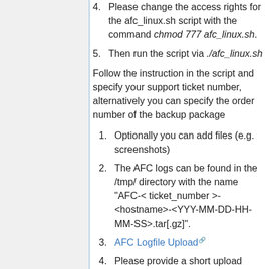4. Please change the access rights for the afc_linux.sh script with the command chmod 777 afc_linux.sh.
5. Then run the script via ./afc_linux.sh
Follow the instruction in the script and specify your support ticket number, alternatively you can specify the order number of the backup package
1. Optionally you can add files (e.g. screenshots)
2. The AFC logs can be found in the /tmp/ directory with the name "AFC-< ticket_number >-<hostname>-<YYY-MM-DD-HH-MM-SS>.tar[.gz]".
3. AFC Logfile Upload
4. Please provide a short upload confirmation to TERRA CLOUD